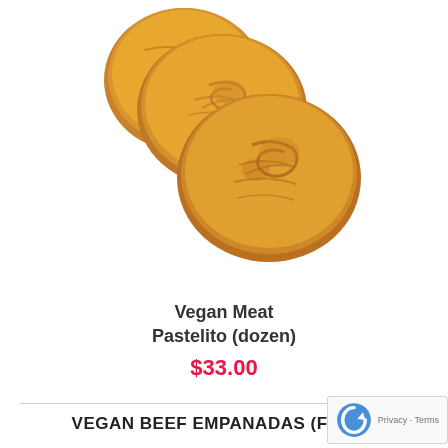[Figure (photo): Photo of vegan meat pastelitos (baked pastries) against white background, partially cropped at top]
Vegan Meat Pastelito (dozen)
$33.00
VEGAN BEEF EMPANADAS (FRIED)
These crispy empanadas are made with corn flour, filled with a mix of vegan crumbles an then deep-fried to perfection and come with a